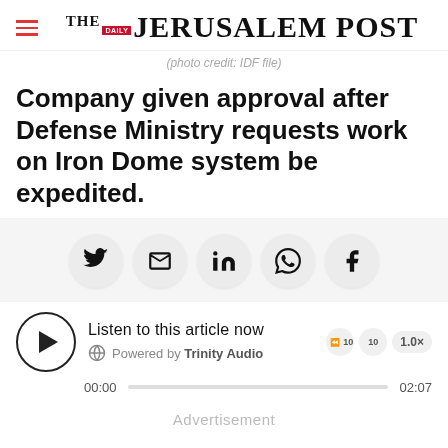THE JERUSALEM POST
(photo credit: IDF file)
Company given approval after Defense Ministry requests work on Iron Dome system be expedited.
[Figure (infographic): Social media share buttons: Twitter, Email, LinkedIn, WhatsApp, Facebook]
[Figure (infographic): Audio player: Listen to this article now. Powered by Trinity Audio. Play button, globe icon, skip controls, speed 1.0x. Progress bar 00:00 to 02:07.]
Advertisement